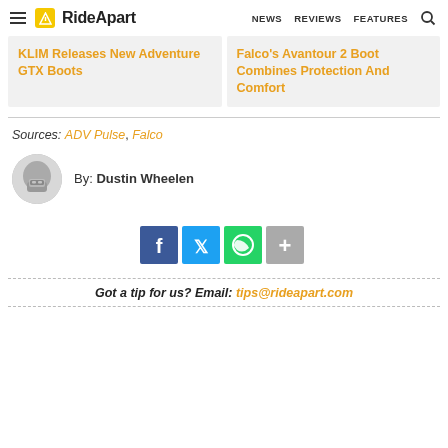RideApart — NEWS  REVIEWS  FEATURES
KLIM Releases New Adventure GTX Boots
Falco's Avantour 2 Boot Combines Protection And Comfort
Sources: ADV Pulse, Falco
By: Dustin Wheelen
[Figure (infographic): Social share buttons: Facebook, Twitter, WhatsApp, More]
Got a tip for us? Email: tips@rideapart.com